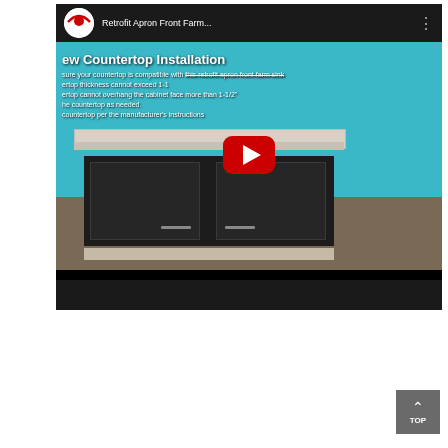[Figure (screenshot): YouTube video thumbnail showing 'Retrofit Apron Front Farm...' video with a play button overlay. The video shows a kitchen cabinet with countertop installation instructions overlaid as text. Text visible includes 'ew Countertop Installation', 'sure your countertop is compatible with this retrofit apron front farm sink', 'ertop thickness cannot exceed 1-1...', 'ertop cannot overhang the cabinet face more than 1-1/2"', 'he countertop as needed.', 'countertop per the manufacturer's instructions'.]
[Figure (other): Gray 'TOP' back-to-top button with upward arrow chevron in bottom right corner.]